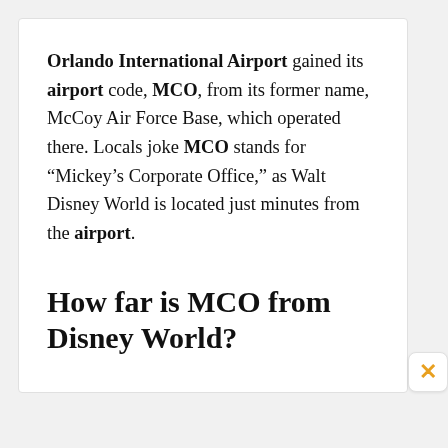Orlando International Airport gained its airport code, MCO, from its former name, McCoy Air Force Base, which operated there. Locals joke MCO stands for “Mickey’s Corporate Office,” as Walt Disney World is located just minutes from the airport.
How far is MCO from Disney World?